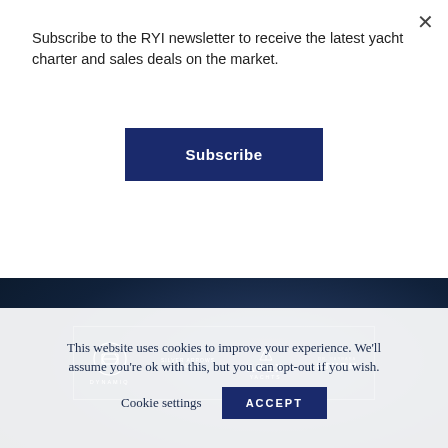Subscribe to the RYI newsletter to receive the latest yacht charter and sales deals on the market.
Subscribe
[Figure (logo): Dark blue banner with sponsor logos: DYNAMIQ, SILVER ARROWS MARINE, APEX YACHTS, DR. BARBARA STURM inside a white-bordered box]
TERMS & CONDITIONS
This website uses cookies to improve your experience. We'll assume you're ok with this, but you can opt-out if you wish.
Cookie settings   ACCEPT